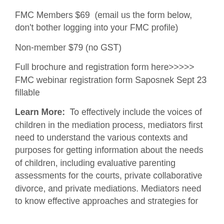FMC Members $69  (email us the form below, don't bother logging into your FMC profile)
Non-member $79 (no GST)
Full brochure and registration form here>>>>> FMC webinar registration form Saposnek Sept 23 fillable
Learn More:  To effectively include the voices of children in the mediation process, mediators first need to understand the various contexts and purposes for getting information about the needs of children, including evaluative parenting assessments for the courts, private collaborative divorce, and private mediations. Mediators need to know effective approaches and strategies for